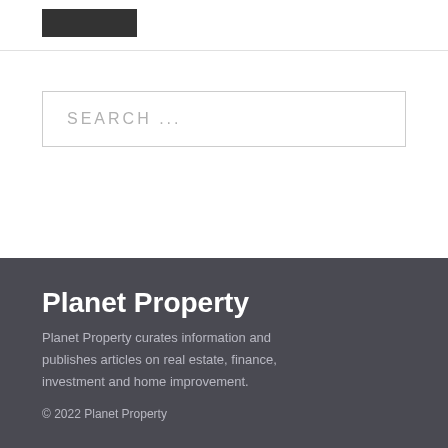[Figure (photo): Small dark logo/image in the top bar]
SEARCH ...
Planet Property
Planet Property curates information and publishes articles on real estate, finance, investment and home improvement.
© 2022 Planet Property